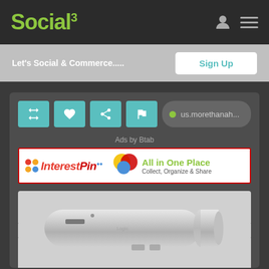[Figure (screenshot): Social3 website screenshot showing navigation bar with green Social3 logo and superscript 3, user icon and hamburger menu on right]
Let's Social & Commerce.....
Sign Up
[Figure (screenshot): Action buttons row: retweet, heart, share, flag buttons in teal, and URL pill showing us.morethanah...]
Ads by Btab
[Figure (logo): InterestPin advertisement banner - colorful logo with dots and text: InterestPin All in One Place Collect, Organize & Share]
[Figure (photo): Product photo showing a silver/aluminum stylus or pen device with buttons, on light gray background, with left and right navigation arrows]